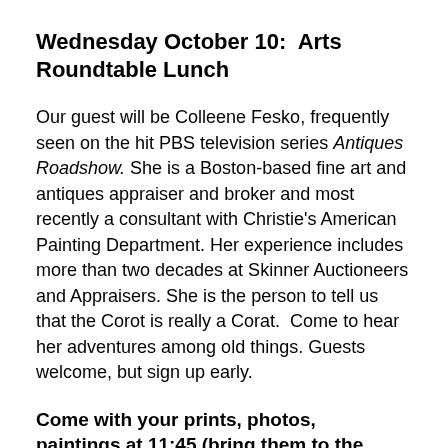Wednesday October 10:  Arts Roundtable Lunch
Our guest will be Colleene Fesko, frequently seen on the hit PBS television series Antiques Roadshow. She is a Boston-based fine art and antiques appraiser and broker and most recently a consultant with Christie’s American Painting Department. Her experience includes more than two decades at Skinner Auctioneers and Appraisers. She is the person to tell us that the Corot is really a Corat.  Come to hear her adventures among old things. Guests welcome, but sign up early.
Come with your prints, photos, paintings at 11:45 (bring them to the